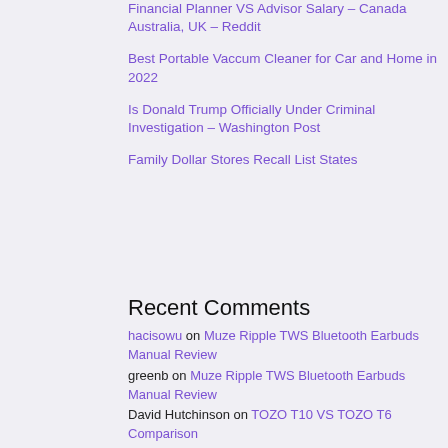Financial Planner VS Advisor Salary – Canada Australia, UK – Reddit
Best Portable Vaccum Cleaner for Car and Home in 2022
Is Donald Trump Officially Under Criminal Investigation – Washington Post
Family Dollar Stores Recall List States
Recent Comments
hacisowu on Muze Ripple TWS Bluetooth Earbuds Manual Review
greenb on Muze Ripple TWS Bluetooth Earbuds Manual Review
David Hutchinson on TOZO T10 VS TOZO T6 Comparison